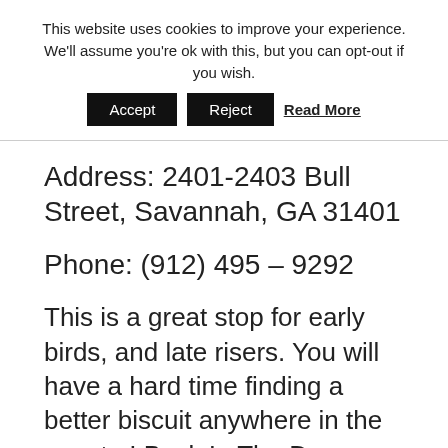This website uses cookies to improve your experience. We'll assume you're ok with this, but you can opt-out if you wish.
Accept   Reject   Read More
Address: 2401-2403 Bull Street, Savannah, GA 31401
Phone: (912) 495 – 9292
This is a great stop for early birds, and late risers. You will have a hard time finding a better biscuit anywhere in the country! Back In The Day Bakery is one of Savannah's most precious hidden gems. Offering a wide variety of baked goods